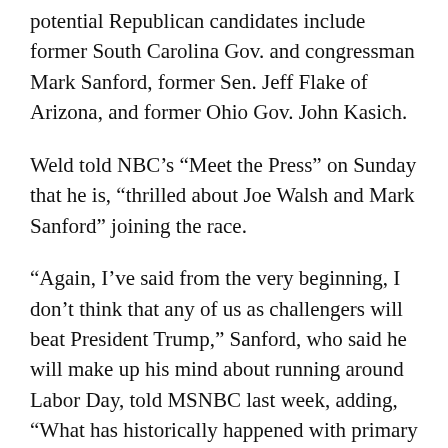potential Republican candidates include former South Carolina Gov. and congressman Mark Sanford, former Sen. Jeff Flake of Arizona, and former Ohio Gov. John Kasich.
Weld told NBC's “Meet the Press” on Sunday that he is, “thrilled about Joe Walsh and Mark Sanford” joining the race.
“Again, I’ve said from the very beginning, I don’t think that any of us as challengers will beat President Trump,” Sanford, who said he will make up his mind about running around Labor Day, told MSNBC last week, adding, “What has historically happened with primary challengers — though they have not gone on to win the nomination — what they have done in many cases either significantly changed the debate or frankly changed the contours of the election going forward.”